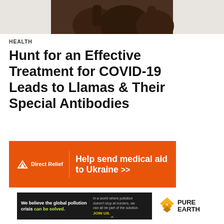[Figure (photo): Photo of llamas or large animals (brown/dark colored) cropped at top of page]
HEALTH
Hunt for an Effective Treatment for COVID-19 Leads to Llamas & Their Special Antibodies
[Figure (infographic): Orange DirectRelief advertisement banner: Help send medical aid to Ukraine >>]
[Figure (infographic): Pure Earth advertisement: We believe the global pollution crisis can be solved. In a world where pollution doesn't stop at borders, we can all be part of the solution. JOIN US. Pure Earth logo.]